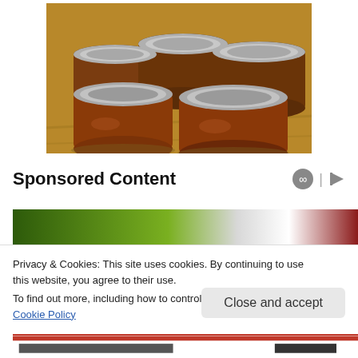[Figure (photo): Multiple glass mason jars filled with dark brown jam/preserve, with silver metal lids, arranged on a wooden surface]
Sponsored Content
[Figure (photo): Partial advertisement image showing green and red gradient background]
Privacy & Cookies: This site uses cookies. By continuing to use this website, you agree to their use.
To find out more, including how to control cookies, see here: Cookie Policy
Close and accept